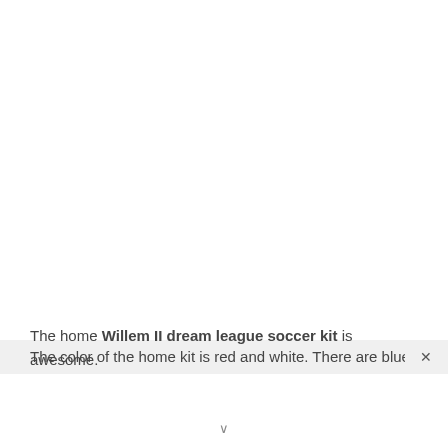The home Willem II dream league soccer kit is awesome. The color of the home kit is red and white. There are blue ×